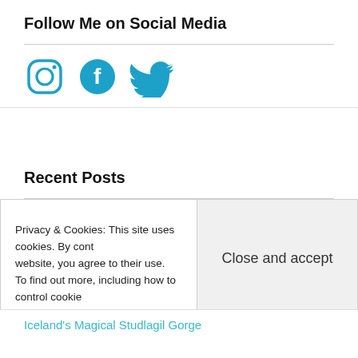Follow Me on Social Media
[Figure (illustration): Three social media icons: Instagram (teal camera outline), Facebook (teal circle with f), Twitter (teal bird)]
Recent Posts
A Quick Visit to Much-loved Rhode Island
Tips for Traveling Around Iceland
Blue Lagoon Options Demystified
Privacy & Cookies: This site uses cookies. By cont... website, you agree to their use. To find out more, including how to control cookie...
Close and accept
Iceland's Magical Studlagil Gorge